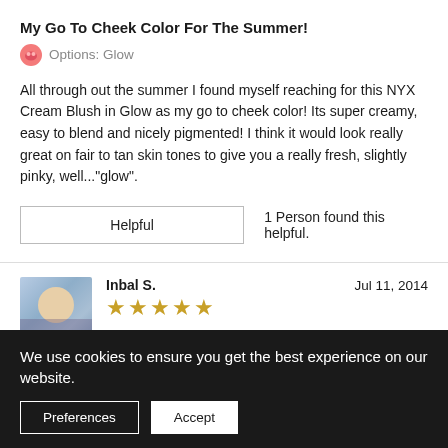My Go To Cheek Color For The Summer!
Options: Glow
All through out the summer I found myself reaching for this NYX Cream Blush in Glow as my go to cheek color! Its super creamy, easy to blend and nicely pigmented! I think it would look really great on fair to tan skin tones to give you a really fresh, slightly pinky, well..."glow".
Helpful | 1 Person found this helpful.
Inbal S.   Jul 11, 2014   ★★★★★
So pink, and yet so natural
We use cookies to ensure you get the best experience on our website.
Preferences  Accept